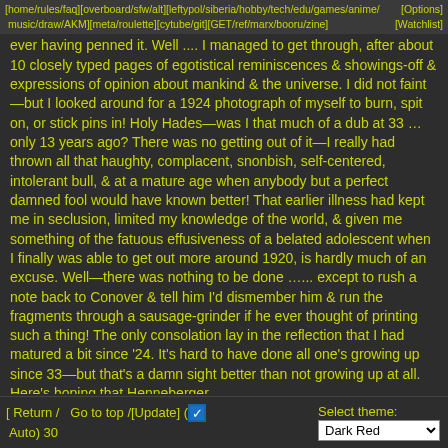[home/rules/faq][overboard/sfw/alt][leftypol/siberia/hobby/tech/edu/games/anime/music/draw/AKM][meta/roulette][cytube/git][GET/ref/marx/booru/zine]  [Options][Watchlist]
ever having penned it. Well .... I managed to get through, after about 10 closely typed pages of egotistical reminiscences & showings-off & expressions of opinion about mankind & the universe. I did not faint—but I looked around for a 1924 photograph of myself to burn, spit on, or stick pins in! Holy Hades—was I that much of a dub at 33 … only 13 years ago? There was no getting out of it—I really had thrown all that haughty, complacent, snonbish, self-centered, intolerant bull, & at a mature age when anybody but a perfect damned fool would have known better! That earlier illness had kept me in seclusion, limited my knowledge of the world, & given me something of the fatuous effusiveness of a belated adolescent when I finally was able to get out more around 1920, is hardly much of an excuse. Well—there was nothing to be done …... except to rush a note back to Conover & tell him I'd dismember him & run the fragments through a sausage-grinder if he ever thought of printing such a thing! The only consolation lay in the reflection that I had matured a bit since '24. It's hard to have done all one's growing up since 33—but that's a damn sight better than not growing up at all. Here's hoping that Henneberger
[ Return /  Go to top /[Update] (☑ Auto) 30   Select theme: Dark Red